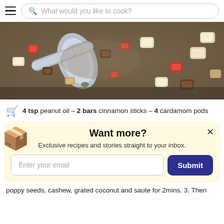What would you like to cook?
[Figure (photo): Close-up photo of diced vegetables and ingredients being cooked in a pan, with a metal spoon visible. The ingredients include red tomatoes, white pieces of coconut or similar, and other mixed vegetables in a dark pan.]
4 tsp peanut oil – 2 bars cinnamon sticks – 4 cardamom pods
Want more?
Exclusive recipes and stories straight to your inbox.
poppy seeds, cashew, grated coconut and saute for 2mins. 3. Then